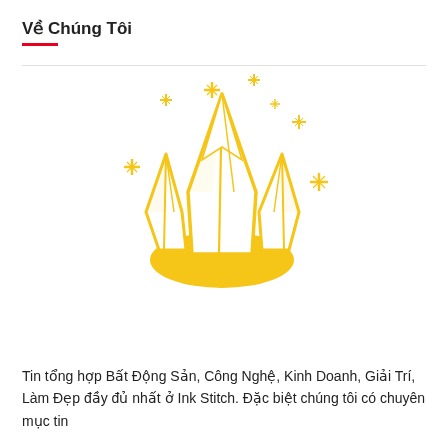Về Chúng Tôi
[Figure (illustration): Golden crystal gemstones cluster with sparkle stars around them, sitting on a golden base/puddle. Decorative illustration in yellow/gold color scheme on white background.]
Tin tổng hợp Bất Động Sản, Công Nghệ, Kinh Doanh, Giải Trí, Làm Đẹp đầy đủ nhất ở Ink Stitch. Đặc biệt chúng tôi có chuyên mục tin